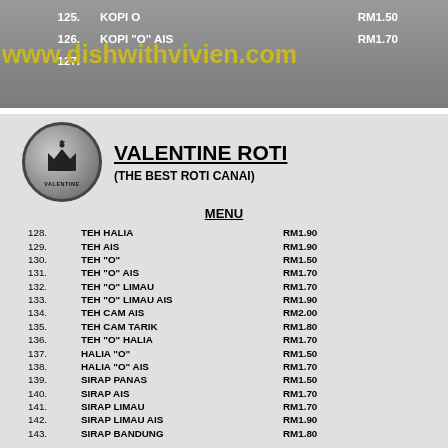[Figure (photo): Top photo strip showing a previous menu section with items 125-127 (KOPI O, KOPI O AIS, and partially visible item) with prices RM1.50, RM1.70, and a watermark overlay reading www.dishwithvivien.com]
VALENTINE ROTI
(THE BEST ROTI CANAI)
MENU
128. TEH HALIA   RM1.90
129. TEH AIS   RM1.90
130. TEH "O"   RM1.50
131. TEH "O" AIS   RM1.70
132. TEH "O" LIMAU   RM1.70
133. TEH "O" LIMAU AIS   RM1.90
134. TEH CAM AIS   RM2.00
135. TEH CAM TARIK   RM1.80
136. TEH "O" HALIA   RM1.70
137. HALIA "O"   RM1.50
138. HALIA "O" AIS   RM1.70
139. SIRAP PANAS   RM1.50
140. SIRAP AIS   RM1.70
141. SIRAP LIMAU   RM1.70
142. SIRAP LIMAU AIS   RM1.90
143. SIRAP BANDUNG   RM1.80